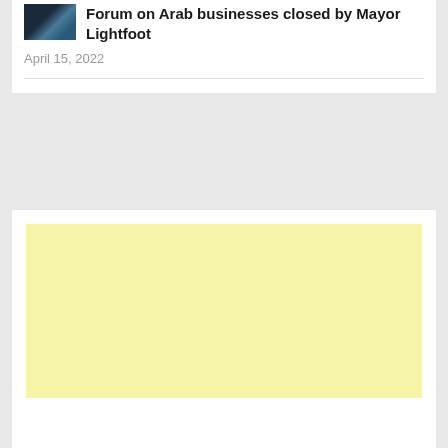Forum on Arab businesses closed by Mayor Lightfoot
April 15, 2022
[Figure (other): Yellow advertisement placeholder block]